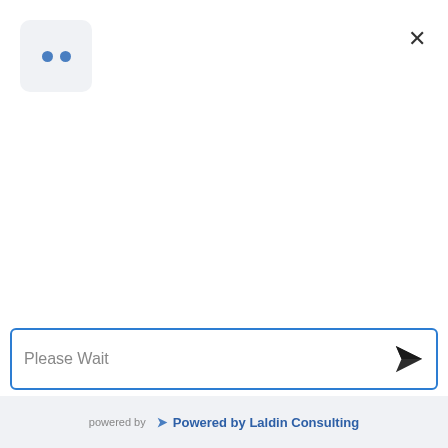[Figure (screenshot): Avatar box with two blue dots on light grey rounded square background]
×
Please Wait
powered by ✈ Powered by Laldin Consulting